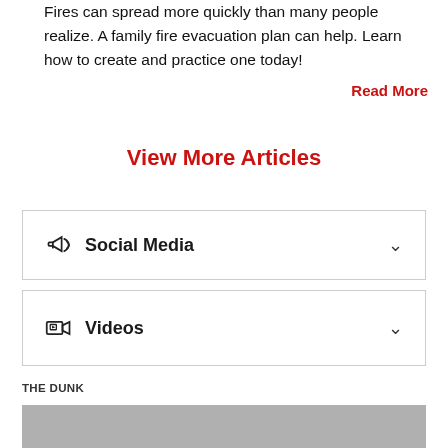Fires can spread more quickly than many people realize. A family fire evacuation plan can help. Learn how to create and practice one today!
Read More
View More Articles
Social Media
Videos
THE DUNK
[Figure (other): Gray placeholder image box at bottom of page]